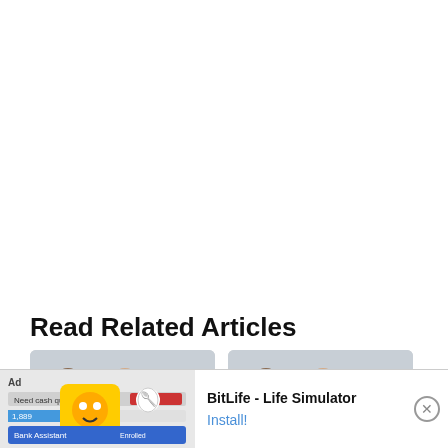Read Related Articles
[Figure (photo): Thumbnail photo showing three men (news anchors) with grey background]
[Figure (photo): Thumbnail photo showing three men (news anchors) with grey background, duplicate]
[Figure (screenshot): BitLife - Life Simulator advertisement banner at the bottom of the page with Ad label, app icon, title 'BitLife - Life Simulator' and Install button, and a close X button]